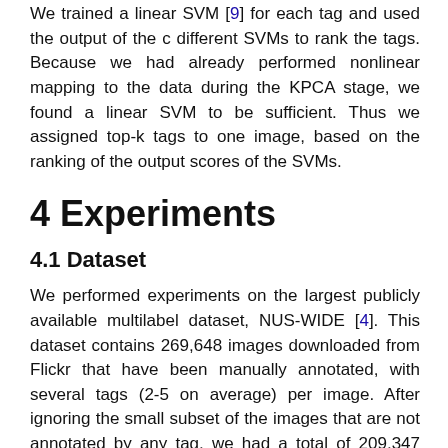We trained a linear SVM [9] for each tag and used the output of the c different SVMs to rank the tags. Because we had already performed nonlinear mapping to the data during the KPCA stage, we found a linear SVM to be sufficient. Thus we assigned top-k tags to one image, based on the ranking of the output scores of the SVMs.
4 Experiments
4.1 Dataset
We performed experiments on the largest publicly available multilabel dataset, NUS-WIDE [4]. This dataset contains 269,648 images downloaded from Flickr that have been manually annotated, with several tags (2-5 on average) per image. After ignoring the small subset of the images that are not annotated by any tag, we had a total of 209,347 images for training and testing. We used a subset of 150,000 images for training and used the rest of the images for testing. The tag dictionary for the images contains 81 different tags. Some sample images and annotations are shown in Figure 1.